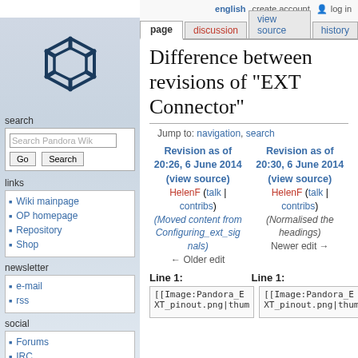english   create account   log in
page | discussion | view source | history
Difference between revisions of "EXT Connector"
Jump to: navigation, search
Revision as of 20:26, 6 June 2014 (view source)
HelenF (talk | contribs)
(Moved content from Configuring_ext_signals)
← Older edit
Revision as of 20:30, 6 June 2014 (view source)
HelenF (talk | contribs)
(Normalised the headings)
Newer edit →
Line 1:
Line 1:
[[Image:Pandora_EXT_pinout.png|thum
[[Image:Pandora_EXT_pinout.png|thum